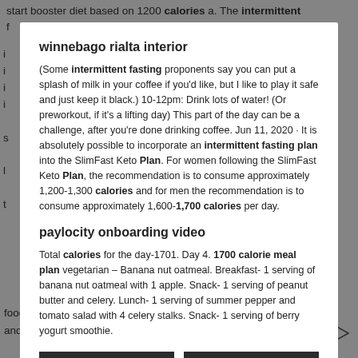start booster diet based on 1200 calories a. The intermittent f...
winnebago rialta interior
(Some intermittent fasting proponents say you can put a splash of milk in your coffee if you'd like, but I like to play it safe and just keep it black.) 10-12pm: Drink lots of water! (Or preworkout, if it's a lifting day) This part of the day can be a challenge, after you're done drinking coffee. Jun 11, 2020 · It is absolutely possible to incorporate an intermittent fasting plan into the SlimFast Keto Plan. For women following the SlimFast Keto Plan, the recommendation is to consume approximately 1,200-1,300 calories and for men the recommendation is to consume approximately 1,600-1,700 calories per day.
paylocity onboarding video
Total calories for the day-1701. Day 4. 1700 calorie meal plan vegetarian – Banana nut oatmeal. Breakfast- 1 serving of banana nut oatmeal with 1 apple. Snack- 1 serving of peanut butter and celery. Lunch- 1 serving of summer pepper and tomato salad with 4 celery stalks. Snack- 1 serving of berry yogurt smoothie.
Reject All
I Accept
foods - low fat recipes - healthy eating meal plan Avoid obstacles and use correct portions. Eric Reardon MS, CNC, Certified